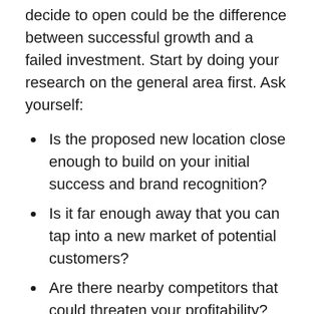decide to open could be the difference between successful growth and a failed investment. Start by doing your research on the general area first. Ask yourself:
Is the proposed new location close enough to build on your initial success and brand recognition?
Is it far enough away that you can tap into a new market of potential customers?
Are there nearby competitors that could threaten your profitability?
This type of market research can help you understand the potential demand before you make any commitments. Then, start looking for a physical space that meets your needs. Be sure to consider: